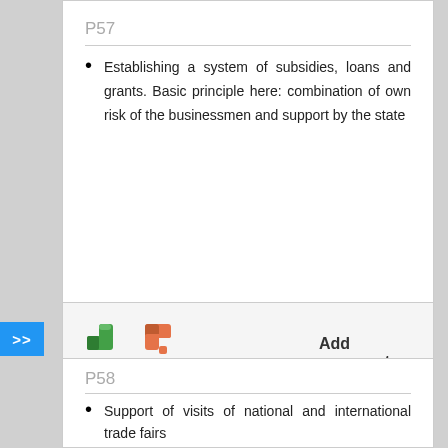P57
Establishing a system of subsidies, loans and grants. Basic principle here: combination of own risk of the businessmen and support by the state
[Figure (infographic): Thumbs up (green) and thumbs down (orange-red) icons with a vote progress bar showing mostly positive votes. 29 votes total. Add comment link.]
P58
Support of visits of national and international trade fairs